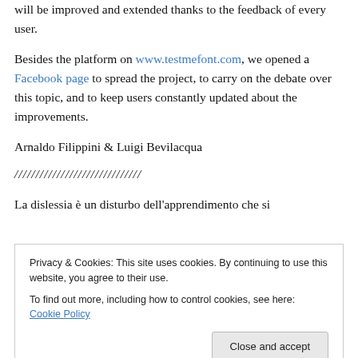will be improved and extended thanks to the feedback of every user.
Besides the platform on www.testmefont.com, we opened a Facebook page to spread the project, to carry on the debate over this topic, and to keep users constantly updated about the improvements.
Arnaldo Filippini & Luigi Bevilacqua
//////////////////////////////
La dislessia è un disturbo dell'apprendimento che si
Privacy & Cookies: This site uses cookies. By continuing to use this website, you agree to their use.
To find out more, including how to control cookies, see here: Cookie Policy
Close and accept
considerazione più parametri per individuare le condizioni